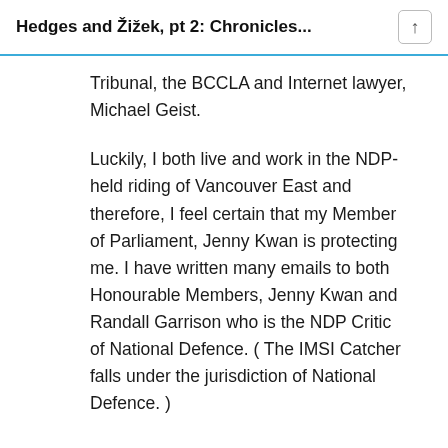Hedges and Žižek, pt 2: Chronicles...
Tribunal, the BCCLA and Internet lawyer, Michael Geist.
Luckily, I both live and work in the NDP-held riding of Vancouver East and therefore, I feel certain that my Member of Parliament, Jenny Kwan is protecting me. I have written many emails to both Honourable Members, Jenny Kwan and Randall Garrison who is the NDP Critic of National Defence. ( The IMSI Catcher falls under the jurisdiction of National Defence. )